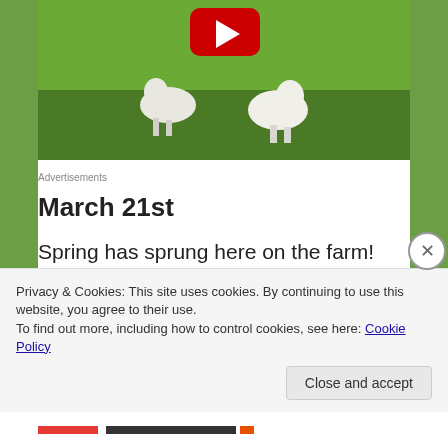[Figure (screenshot): Video thumbnail showing lambs/white birds on green grass with a red YouTube play button icon in the center top area]
Advertisements
March 21st
Spring has sprung here on the farm! We are harvesting our very first salad greens of the season, and that means we will soon be having our 5th
Privacy & Cookies: This site uses cookies. By continuing to use this website, you agree to their use.
To find out more, including how to control cookies, see here: Cookie Policy
Close and accept